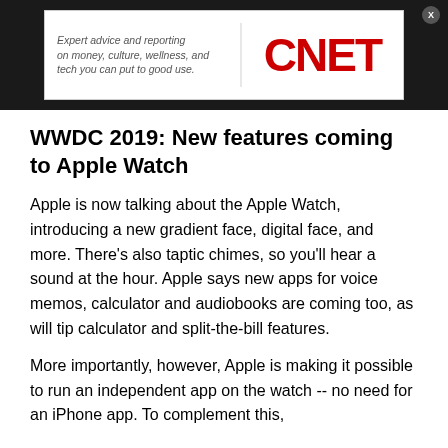[Figure (logo): CNET advertisement banner with tagline 'Expert advice and reporting on money, culture, wellness, and tech you can put to good use.' and red CNET logo on dark background]
WWDC 2019: New features coming to Apple Watch
Apple is now talking about the Apple Watch, introducing a new gradient face, digital face, and more. There's also taptic chimes, so you'll hear a sound at the hour. Apple says new apps for voice memos, calculator and audiobooks are coming too, as will tip calculator and split-the-bill features.
More importantly, however, Apple is making it possible to run an independent app on the watch -- no need for an iPhone app. To complement this,